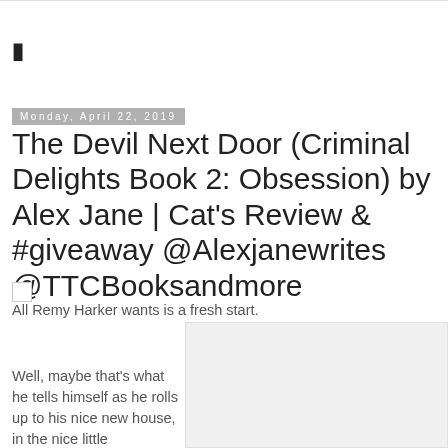Monday, April 22, 2019
The Devil Next Door (Criminal Delights Book 2: Obsession) by Alex Jane | Cat's Review & #giveaway @Alexjanewrites @TTCBooksandmore
All Remy Harker wants is a fresh start.
Well, maybe that's what he tells himself as he rolls up to his nice new house, in the nice little neighbourhood...